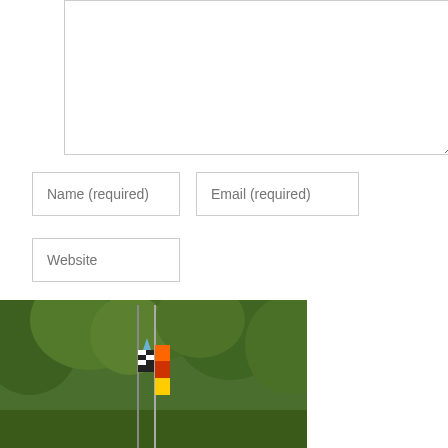[Figure (other): Comment form textarea (large text input box, empty, with resize handle at bottom-right)]
Name (required)
Email (required)
Website
POST COMMENT
[Figure (photo): Outdoor photo showing trees with green foliage in background and two flags (one American flag, one red/orange flag) on flagpoles in the center of the image.]